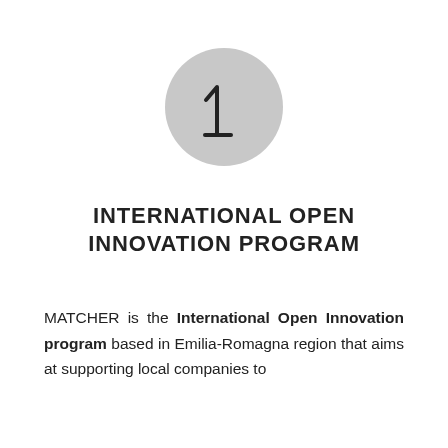[Figure (illustration): A large circle with light grey fill containing the number 1 rendered in an outlined/hollow style font]
INTERNATIONAL OPEN INNOVATION PROGRAM
MATCHER is the International Open Innovation program based in Emilia-Romagna region that aims at supporting local companies to